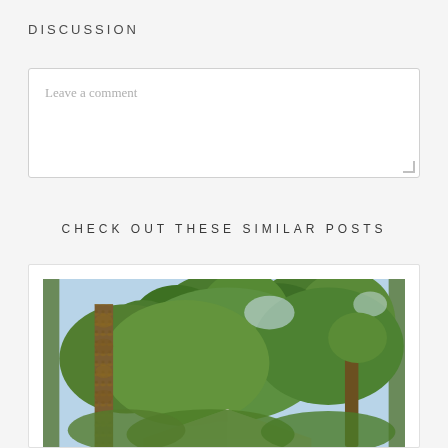DISCUSSION
Leave a comment
CHECK OUT THESE SIMILAR POSTS
[Figure (photo): Outdoor photo looking up at tall trees with lush green leafy canopies and a vine-covered trunk on the left side; a rooftop is partially visible at the bottom of the frame.]